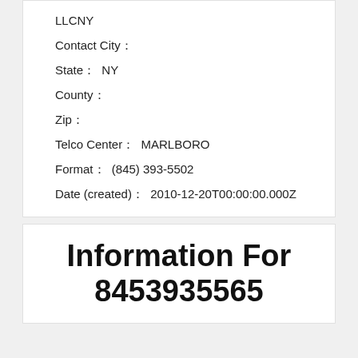LLCNY
Contact City：
State：  NY
County：
Zip：
Telco Center：  MARLBORO
Format：  (845) 393-5502
Date (created)：  2010-12-20T00:00:00.000Z
Information For 8453935565